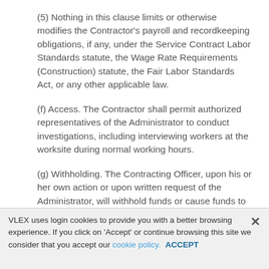(5) Nothing in this clause limits or otherwise modifies the Contractor's payroll and recordkeeping obligations, if any, under the Service Contract Labor Standards statute, the Wage Rate Requirements (Construction) statute, the Fair Labor Standards Act, or any other applicable law.
(f) Access. The Contractor shall permit authorized representatives of the Administrator to conduct investigations, including interviewing workers at the worksite during normal working hours.
(g) Withholding. The Contracting Officer, upon his or her own action or upon written request of the Administrator, will withhold funds or cause funds to be withheld, from the Contractor under this or any other
VLEX uses login cookies to provide you with a better browsing experience. If you click on 'Accept' or continue browsing this site we consider that you accept our cookie policy. ACCEPT